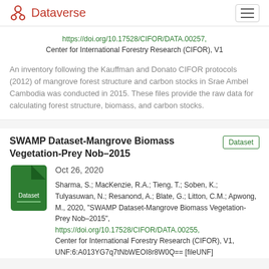Dataverse
https://doi.org/10.17528/CIFOR/DATA.00257, Center for International Forestry Research (CIFOR), V1
An inventory following the Kauffman and Donato CIFOR protocols (2012) of mangrove forest structure and carbon stocks in Srae Ambel Cambodia was conducted in 2015. These files provide the raw data for calculating forest structure, biomass, and carbon stocks.
SWAMP Dataset-Mangrove Biomass Vegetation-Prey Nob–2015
Oct 26, 2020
Sharma, S.; MacKenzie, R.A.; Tieng, T.; Soben, K.; Tulyasuwan, N.; Resanond, A.; Blate, G.; Litton, C.M.; Apwong, M., 2020, "SWAMP Dataset-Mangrove Biomass Vegetation-Prey Nob–2015", https://doi.org/10.17528/CIFOR/DATA.00255, Center for International Forestry Research (CIFOR), V1, UNF:6:A013YG7q7tNbWEOI8r8W0Q== [fileUNF]